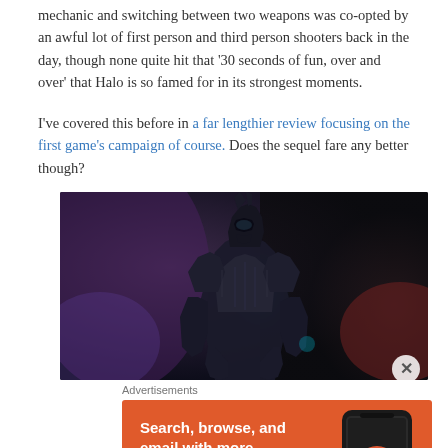mechanic and switching between two weapons was co-opted by an awful lot of first person and third person shooters back in the day, though none quite hit that '30 seconds of fun, over and over' that Halo is so famed for in its strongest moments.
I've covered this before in a far lengthier review focusing on the first game's campaign of course. Does the sequel fare any better though?
[Figure (photo): Screenshot of a dark armored alien or robot figure (Arbiter or similar Halo character) in a dark purple/blue atmospheric scene]
Advertisements
[Figure (other): DuckDuckGo advertisement on orange background. Text: 'Search, browse, and email with more privacy. All in One Free App' with DuckDuckGo logo and phone mockup.]